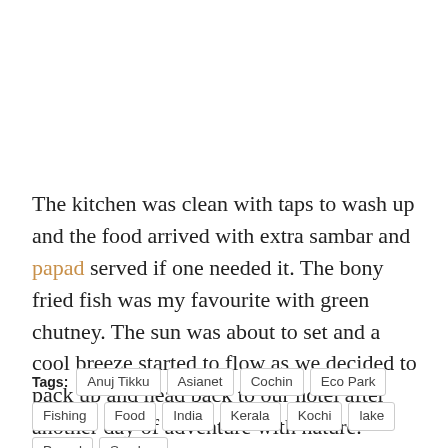The kitchen was clean with taps to wash up and the food arrived with extra sambar and papad served if one needed it. The bony fried fish was my favourite with green chutney. The sun was about to set and a cool breeze started to flow as we decided to pack up and head back to our hotel after another day of adventure with nature.
Tags: Anuj Tikku  Asianet  Cochin  Eco Park  Fishing  Food  India  Kerala  Kochi  lake  Papad  Sambar